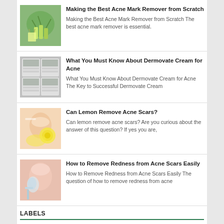Making the Best Acne Mark Remover from Scratch
Making the Best Acne Mark Remover from Scratch The best acne mark remover is essential.
What You Must Know About Dermovate Cream for Acne
What You Must Know About Dermovate Cream for Acne The Key to Successful Dermovate Cream
Can Lemon Remove Acne Scars?
Can lemon remove acne scars? Are you curious about the answer of this question? If yes you are,
How to Remove Redness from Acne Scars Easily
How to Remove Redness from Acne Scars Easily The question of how to remove redness from acne
LABELS